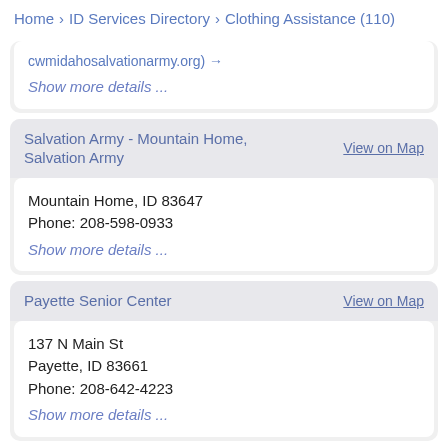Home > ID Services Directory > Clothing Assistance (110)
cwmidahosalvationarmy.org) →
Show more details ...
Salvation Army - Mountain Home, Salvation Army
View on Map
Mountain Home, ID 83647
Phone: 208-598-0933
Show more details ...
Payette Senior Center
View on Map
137 N Main St
Payette, ID 83661
Phone: 208-642-4223
Show more details ...